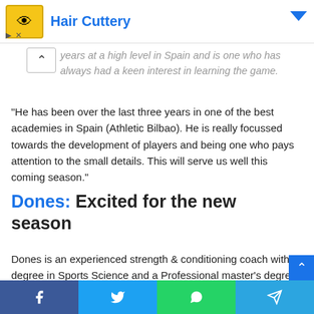[Figure (other): Advertisement banner for Hair Cuttery with logo and blue arrow]
years at a high level in Spain and is one who has always had a keen interest in learning the game.
“He has been over the last three years in one of the best academies in Spain (Athletic Bilbao). He is really focussed towards the development of players and being one who pays attention to the small details. This will serve us well this coming season.”
Dones: Excited for the new season
Dones is an experienced strength & conditioning coach with a degree in Sports Science and a Professional master’s degree in High Performance in Team Sports from FC Barcelona.